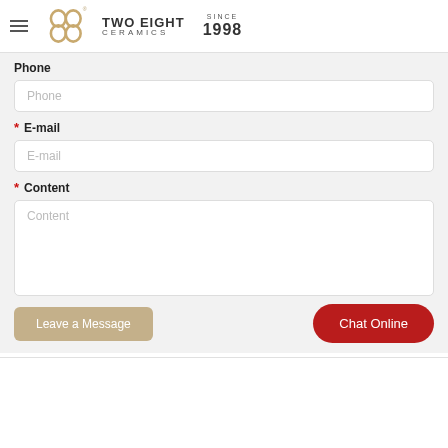[Figure (logo): Two Eight Ceramics logo with hamburger menu icon, decorative double-loop emblem, brand name TWO EIGHT CERAMICS, and SINCE 1998]
Phone
Phone (placeholder)
* E-mail
E-mail (placeholder)
* Content
Content (placeholder)
Leave a Message
Chat Online